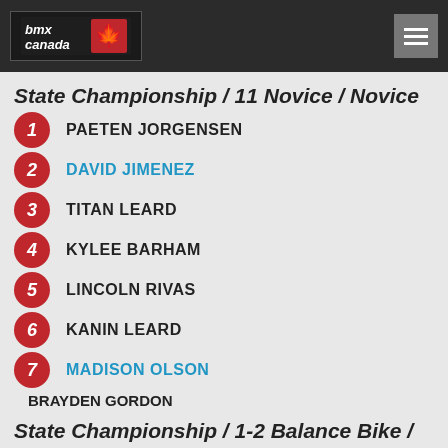BMX Canada
State Championship / 11 Novice / Novice
1 PAETEN JORGENSEN
2 DAVID JIMENEZ
3 TITAN LEARD
4 KYLEE BARHAM
5 LINCOLN RIVAS
6 KANIN LEARD
7 MADISON OLSON
BRAYDEN GORDON
State Championship / 1-2 Balance Bike / Bal. Bike
1 WARD SINSEL
2 TATUM MADRISHIN